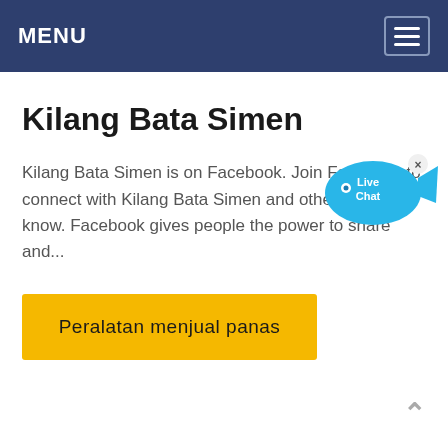MENU
Kilang Bata Simen
Kilang Bata Simen is on Facebook. Join Facebook to connect with Kilang Bata Simen and others you may know. Facebook gives people the power to share and...
[Figure (illustration): Live Chat speech bubble with fish icon and close button, blue color]
Peralatan menjual panas